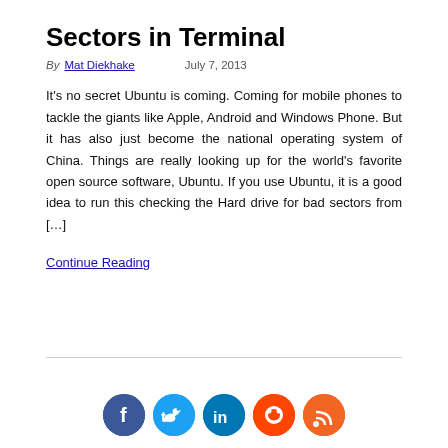Sectors in Terminal
By Mat Diekhake    July 7, 2013
It's no secret Ubuntu is coming. Coming for mobile phones to tackle the giants like Apple, Android and Windows Phone. But it has also just become the national operating system of China. Things are really looking up for the world's favorite open source software, Ubuntu. If you use Ubuntu, it is a good idea to run this checking the Hard drive for bad sectors from […]
Continue Reading
[Figure (other): Social media icons: Facebook, Twitter, LinkedIn, Reddit, RSS]